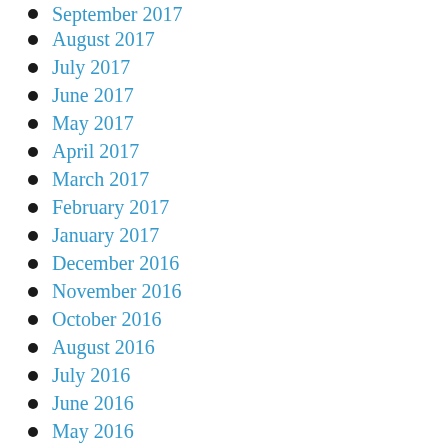September 2017
August 2017
July 2017
June 2017
May 2017
April 2017
March 2017
February 2017
January 2017
December 2016
November 2016
October 2016
August 2016
July 2016
June 2016
May 2016
March 2016